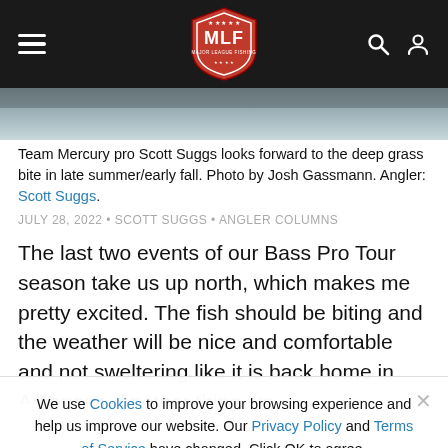MLF Major League Fishing navigation bar
[Figure (photo): Partial photo of angler on water, cropped at top]
Team Mercury pro Scott Suggs looks forward to the deep grass bite in late summer/early fall. Photo by Josh Gassmann. Angler: Scott Suggs.
JULY 28, 2022 • SCOTT SUGGS • ANGLER COLUMNS
The last two events of our Bass Pro Tour season take us up north, which makes me pretty excited. The fish should be biting and the weather will be nice and comfortable and not sweltering like it is back home in Arkansas. Another thing I'm
We use Cookies to improve your browsing experience and help us improve our website. Our Privacy Policy and Terms of Service have changed. Click OK to agree.